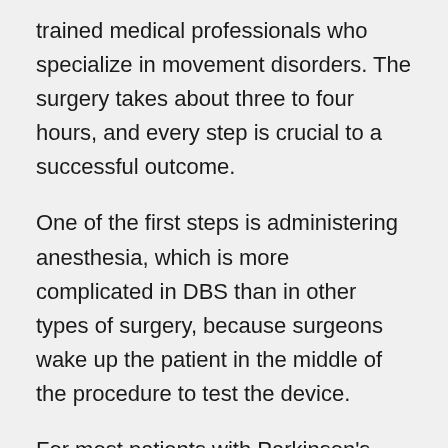trained medical professionals who specialize in movement disorders. The surgery takes about three to four hours, and every step is crucial to a successful outcome.
One of the first steps is administering anesthesia, which is more complicated in DBS than in other types of surgery, because surgeons wake up the patient in the middle of the procedure to test the device.
For most patients with Parkinson’s disease, the electrode is placed in the subthalamic nucleus region of the brain. Before placing the electrode, the team needed to confirm they had found the correct spot.
“Each region of the brain has different brainwaves and firing patterns,” Tavanaiepour said. “Some regions have a signature way of firing neurons. Our neurophysiologist